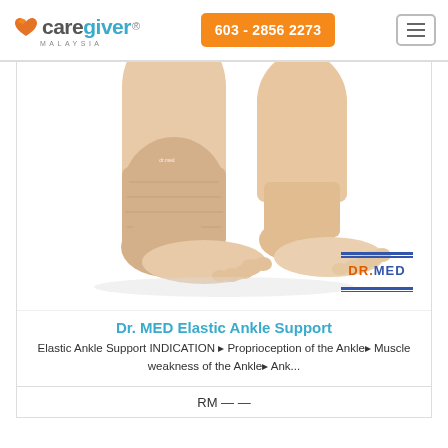care giver MALAYSIA | 603 - 2856 2273
[Figure (photo): Two feet wearing beige/skin-toned elastic ankle support braces (Dr. MED brand), shown from the side to display the ankle wrap design. The Dr. MED logo with blue and orange text appears in the bottom right corner of the product image.]
Dr. MED Elastic Ankle Support
Elastic Ankle Support INDICATION ▶ Proprioception of the Ankle▶ Muscle weakness of the Ankle▶ Ank...